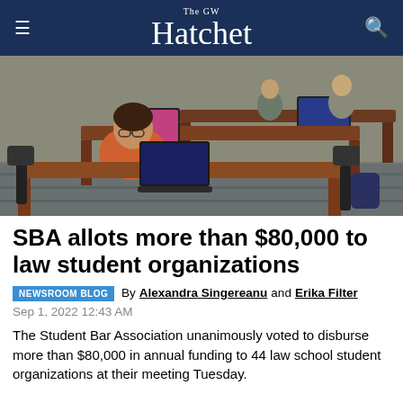The GW Hatchet
[Figure (photo): Students sitting at desks in a classroom, working on laptops. One student in an orange shirt is prominently visible in the foreground.]
SBA allots more than $80,000 to law student organizations
NEWSROOM BLOG By Alexandra Singereanu and Erika Filter Sep 1, 2022 12:43 AM
The Student Bar Association unanimously voted to disburse more than $80,000 in annual funding to 44 law school student organizations at their meeting Tuesday.